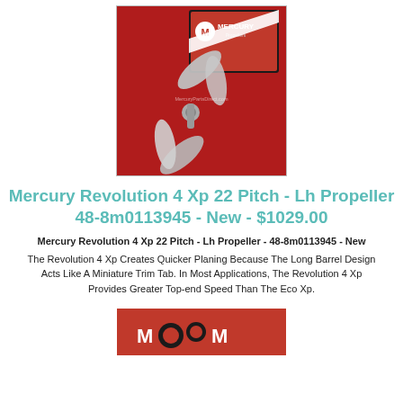[Figure (photo): Mercury Propellers product photo showing a stainless steel 4-blade propeller in front of a red Mercury Propellers branded box on a red background. Watermark reads 'MercuryPartsDirect.com'.]
Mercury Revolution 4 Xp 22 Pitch - Lh Propeller 48-8m0113945 - New - $1029.00
Mercury Revolution 4 Xp 22 Pitch - Lh Propeller - 48-8m0113945 - New
The Revolution 4 Xp Creates Quicker Planing Because The Long Barrel Design Acts Like A Miniature Trim Tab. In Most Applications, The Revolution 4 Xp Provides Greater Top-end Speed Than The Eco Xp.
[Figure (logo): Red banner with partial Mercury logo/branding text visible at bottom of page.]